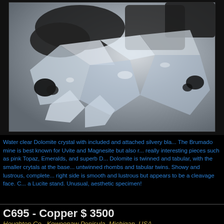[Figure (photo): Close-up photograph of water clear Dolomite crystals with silvery black inclusions, showing transparent and lustrous crystal forms against a dark background]
Water clear Dolomite crystal with included and attached silvery bla... The Brumado mine is best known for Uvite and Magnesite but also r... really interesting pieces such as pink Topaz, Emeralds, and superb D... Dolomite is twinned and tabular, with the smaller crytals at the base... untwinned rhombs and tabular twins. Showy and lustrous, complete... right side is smooth and lustrous but appears to be a cleavage face. C... a Lucite stand. Unusual, aesthetic specimen!
C695 - Copper $ 3500
Houghton Co., Keweenaw Penisula, Michigan, USA